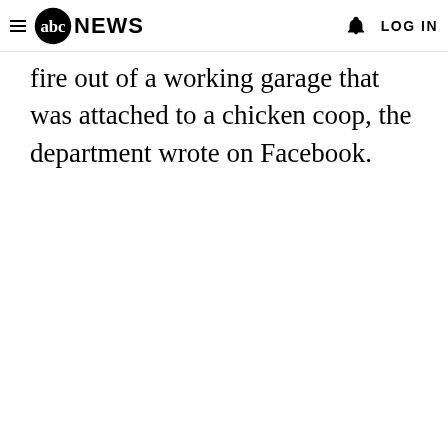abc NEWS   LOG IN
fire out of a working garage that was attached to a chicken coop, the department wrote on Facebook.